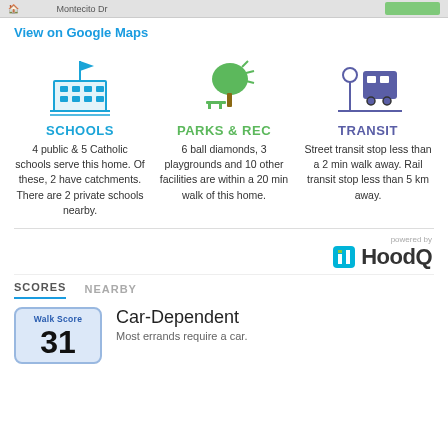[Figure (screenshot): Map bar with address showing Montecito Dr and navigation controls]
View on Google Maps
[Figure (infographic): Three-column infographic showing Schools, Parks & Rec, and Transit icons with descriptions]
SCHOOLS
4 public & 5 Catholic schools serve this home. Of these, 2 have catchments. There are 2 private schools nearby.
PARKS & REC
6 ball diamonds, 3 playgrounds and 10 other facilities are within a 20 min walk of this home.
TRANSIT
Street transit stop less than a 2 min walk away. Rail transit stop less than 5 km away.
[Figure (logo): HoodQ powered by logo]
SCORES	NEARBY
Walk Score 31
Car-Dependent
Most errands require a car.